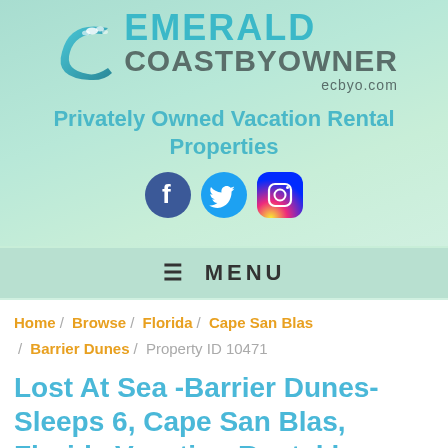[Figure (logo): Emerald Coast By Owner logo with wave/C graphic and ecbyo.com URL]
Privately Owned Vacation Rental Properties
[Figure (infographic): Social media icons: Facebook, Twitter, Instagram]
MENU
Home / Browse / Florida / Cape San Blas / Barrier Dunes / Property ID 10471
Lost At Sea -Barrier Dunes-Sleeps 6, Cape San Blas, Florida Vacation Rental by Owner